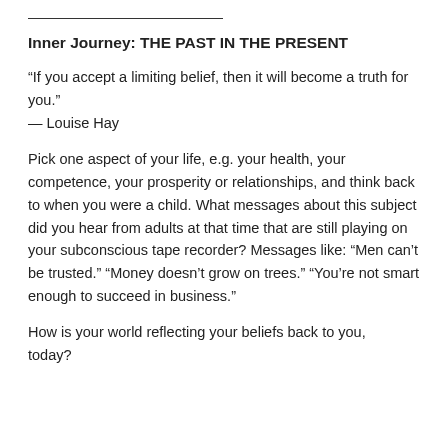Inner Journey: THE PAST IN THE PRESENT
“If you accept a limiting belief, then it will become a truth for you.”
— Louise Hay
Pick one aspect of your life, e.g. your health, your competence, your prosperity or relationships, and think back to when you were a child. What messages about this subject did you hear from adults at that time that are still playing on your subconscious tape recorder? Messages like: “Men can’t be trusted.” “Money doesn’t grow on trees.” “You’re not smart enough to succeed in business.”
How is your world reflecting your beliefs back to you, today?